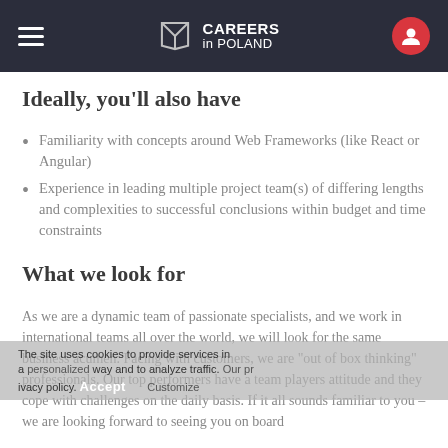CAREERS in POLAND
Ideally, you'll also have
Familiarity with concepts around Web Frameworks (like React or Angular)
Experience in leading multiple project team(s) of differing lengths and complexities to successful conclusions within budget and time constraints
What we look for
As we are a dynamic team of passionate specialists, and we work in international teams all over the world, we will look for the same business acumen. Facing with customers, we are "out of box thinking" professionals. Our top performers have a team players attitude and they cope with challenges on the daily basis. If it all sounds familiar to you – we are looking forward to seeing you on board
What we offer